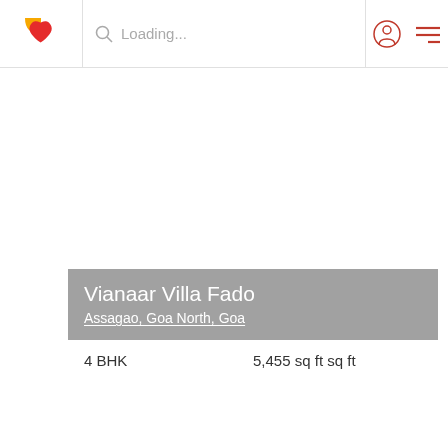Loading...
New Launch | Feb 2022
[Figure (other): Share icon, heart icons, and View Details button]
[Figure (photo): Property image area (blank/loading)]
Vianaar Villa Fado
Assagao, Goa North, Goa
4 BHK
5,455 sq ft sq ft